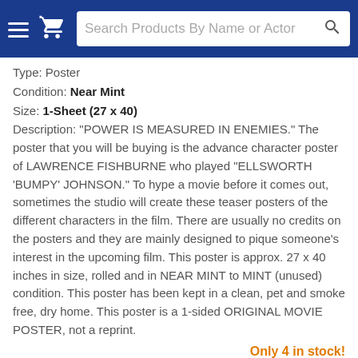Search Products By Name or Actor
Type: Poster
Condition: Near Mint
Size: 1-Sheet (27 x 40)
Description: "POWER IS MEASURED IN ENEMIES." The poster that you will be buying is the advance character poster of LAWRENCE FISHBURNE who played "ELLSWORTH 'BUMPY' JOHNSON." To hype a movie before it comes out, sometimes the studio will create these teaser posters of the different characters in the film. There are usually no credits on the posters and they are mainly designed to pique someone's interest in the upcoming film. This poster is approx. 27 x 40 inches in size, rolled and in NEAR MINT to MINT (unused) condition. This poster has been kept in a clean, pet and smoke free, dry home. This poster is a 1-sided ORIGINAL MOVIE POSTER, not a reprint.
Only 4 in stock!
$15.00